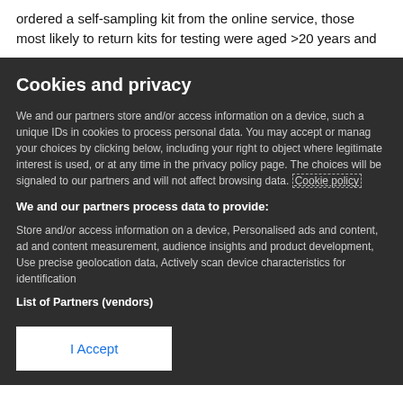ordered a self-sampling kit from the online service, those most likely to return kits for testing were aged >20 years and
Cookies and privacy
We and our partners store and/or access information on a device, such as unique IDs in cookies to process personal data. You may accept or manage your choices by clicking below, including your right to object where legitimate interest is used, or at any time in the privacy policy page. These choices will be signaled to our partners and will not affect browsing data. Cookie policy
We and our partners process data to provide:
Store and/or access information on a device, Personalised ads and content, ad and content measurement, audience insights and product development, Use precise geolocation data, Actively scan device characteristics for identification
List of Partners (vendors)
I Accept